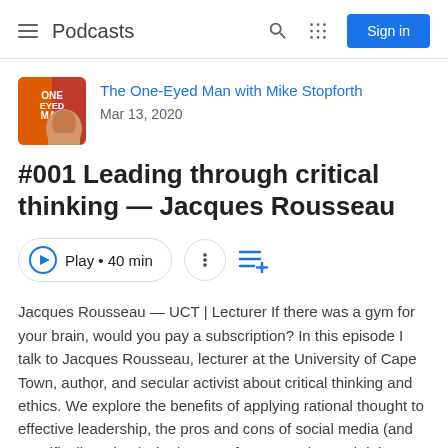Podcasts
The One-Eyed Man with Mike Stopforth
Mar 13, 2020
#001 Leading through critical thinking — Jacques Rousseau
Play • 40 min
Jacques Rousseau — UCT | Lecturer If there was a gym for your brain, would you pay a subscription? In this episode I talk to Jacques Rousseau, lecturer at the University of Cape Town, author, and secular activist about critical thinking and ethics. We explore the benefits of applying rational thought to effective leadership, the pros and cons of social media (and specifically Twitter), the lost art of conversation and debate, and many more topics. Key quote: "No matter how big and powerful you might be, there's somebody out there that's